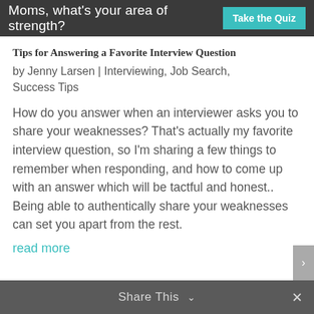Moms, what's your area of strength? Take the Quiz
Tips for Answering a Favorite Interview Question
by Jenny Larsen | Interviewing, Job Search, Success Tips
How do you answer when an interviewer asks you to share your weaknesses? That’s actually my favorite interview question, so I’m sharing a few things to remember when responding, and how to come up with an answer which will be tactful and honest.. Being able to authentically share your weaknesses can set you apart from the rest.
read more
Share This ⌄ ×